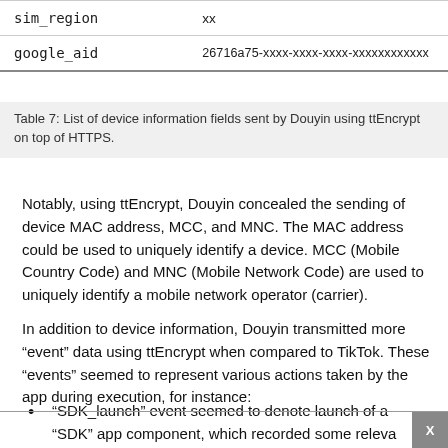| Field | Value |
| --- | --- |
| sim_region | xx |
| google_aid | 26716a75-xxxx-xxxx-xxxx-xxxxxxxxxxxx |
Table 7: List of device information fields sent by Douyin using ttEncrypt on top of HTTPS.
Notably, using ttEncrypt, Douyin concealed the sending of device MAC address, MCC, and MNC. The MAC address could be used to uniquely identify a device. MCC (Mobile Country Code) and MNC (Mobile Network Code) are used to uniquely identify a mobile network operator (carrier).
In addition to device information, Douyin transmitted more “event” data using ttEncrypt when compared to TikTok. These “events” seemed to represent various actions taken by the app during execution, for instance:
“SDK_launch” event seemed to denote launch of a “SDK” app component, which recorded some releva…